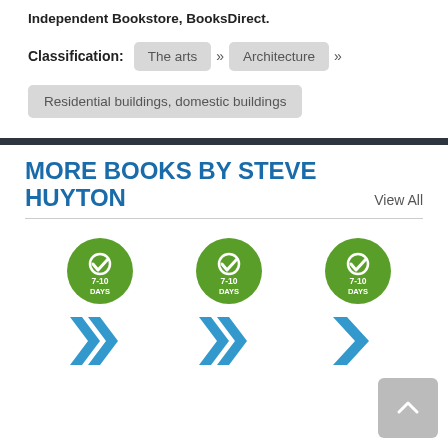Independent Bookstore, BooksDirect.
Classification: The arts » Architecture » Residential buildings, domestic buildings
MORE BOOKS BY STEVE HUYTON
View All
[Figure (infographic): Three green circular badges each showing a checkmark and '7-10 DAYS' text, indicating delivery timeframe]
[Figure (infographic): Three blue double-chevron arrow icons (forward navigation)]